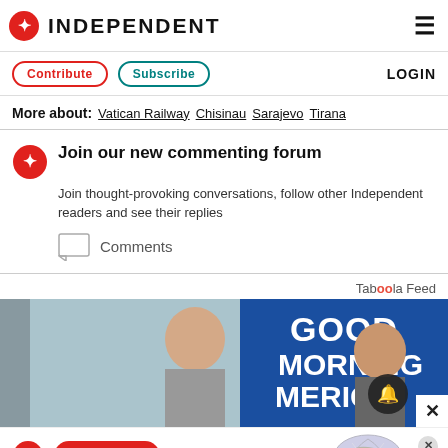INDEPENDENT
Contribute | Subscribe | LOGIN
More about: Vatican Railway  Chisinau  Sarajevo  Tirana
Join our new commenting forum
Join thought-provoking conversations, follow other Independent readers and see their replies
Comments
Taboola Feed
[Figure (photo): Good Morning America TV show screenshot with two female anchors]
Read More